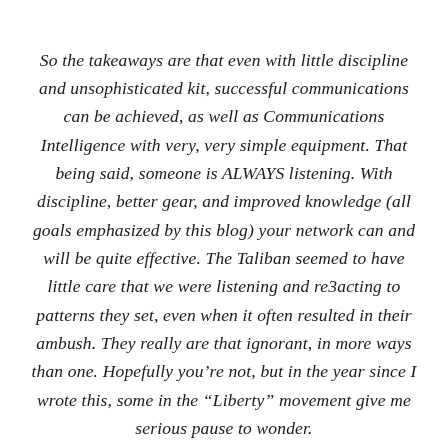So the takeaways are that even with little discipline and unsophisticated kit, successful communications can be achieved, as well as Communications Intelligence with very, very simple equipment. That being said, someone is ALWAYS listening. With discipline, better gear, and improved knowledge (all goals emphasized by this blog) your network can and will be quite effective. The Taliban seemed to have little care that we were listening and re3acting to patterns they set, even when it often resulted in their ambush. They really are that ignorant, in more ways than one. Hopefully you're not, but in the year since I wrote this, some in the “Liberty” movement give me serious pause to wonder.